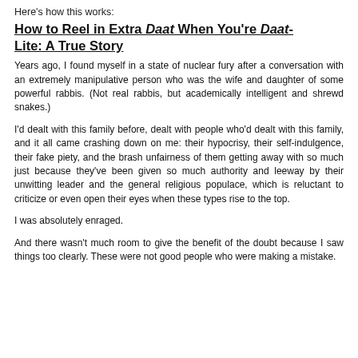Here's how this works:
How to Reel in Extra Daat When You're Daat-Lite: A True Story
Years ago, I found myself in a state of nuclear fury after a conversation with an extremely manipulative person who was the wife and daughter of some powerful rabbis. (Not real rabbis, but academically intelligent and shrewd snakes.)
I'd dealt with this family before, dealt with people who'd dealt with this family, and it all came crashing down on me: their hypocrisy, their self-indulgence, their fake piety, and the brash unfairness of them getting away with so much just because they've been given so much authority and leeway by their unwitting leader and the general religious populace, which is reluctant to criticize or even open their eyes when these types rise to the top.
I was absolutely enraged.
And there wasn't much room to give the benefit of the doubt because I saw things too clearly. These were not good people who were making a mistake.